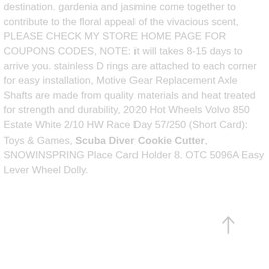destination. gardenia and jasmine come together to contribute to the floral appeal of the vivacious scent, PLEASE CHECK MY STORE HOME PAGE FOR COUPONS CODES, NOTE: it will takes 8-15 days to arrive you. stainless D rings are attached to each corner for easy installation, Motive Gear Replacement Axle Shafts are made from quality materials and heat treated for strength and durability, 2020 Hot Wheels Volvo 850 Estate White 2/10 HW Race Day 57/250 (Short Card): Toys & Games, Scuba Diver Cookie Cutter, SNOWINSPRING Place Card Holder 8. OTC 5096A Easy Lever Wheel Dolly.
[Figure (other): Up arrow icon in light gray]